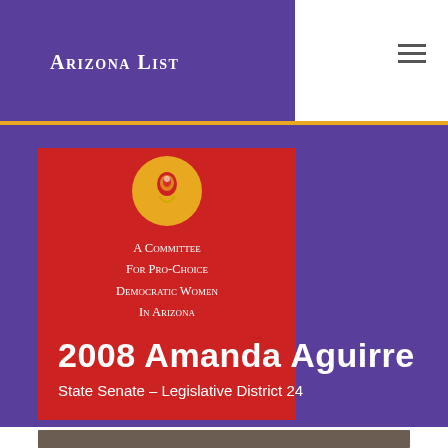Arizona List
[Figure (logo): Arizona List logo - red badge with gold circle icon and text 'A Committee For Pro-Choice Democratic Women In Arizona']
2008 AMANDA AGUIRRE
State Senate – Legislative District 24